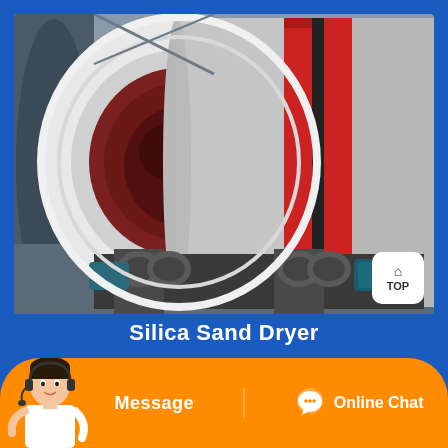[Figure (photo): Industrial silica sand rotary dryer machine — large cylindrical drum painted white and gray with red and black ring bands, mounted on support rollers with electric motor drives, photographed in a factory/workshop setting.]
Silica Sand Dryer
Message
Online Chat